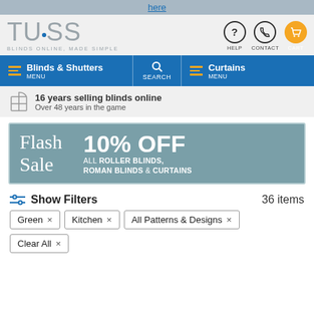here
[Figure (logo): TUISS logo with tagline BLINDS ONLINE, MADE SIMPLE, and navigation icons for HELP, CONTACT, CART]
[Figure (infographic): Navigation bar with Blinds & Shutters menu, Search, and Curtains menu on blue background]
16 years selling blinds online
Over 48 years in the game
[Figure (infographic): Flash Sale banner: 10% OFF ALL ROLLER BLINDS, ROMAN BLINDS & CURTAINS on teal background]
Show Filters   36 items
Green ×
Kitchen ×
All Patterns & Designs ×
Clear All ×